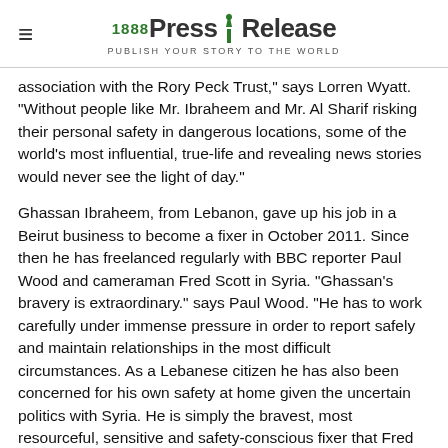1888 Press Release — PUBLISH YOUR STORY TO THE WORLD
association with the Rory Peck Trust," says Lorren Wyatt. "Without people like Mr. Ibraheem and Mr. Al Sharif risking their personal safety in dangerous locations, some of the world's most influential, true-life and revealing news stories would never see the light of day."
Ghassan Ibraheem, from Lebanon, gave up his job in a Beirut business to become a fixer in October 2011. Since then he has freelanced regularly with BBC reporter Paul Wood and cameraman Fred Scott in Syria. "Ghassan's bravery is extraordinary." says Paul Wood. "He has to work carefully under immense pressure in order to report safely and maintain relationships in the most difficult circumstances. As a Lebanese citizen he has also been concerned for his own safety at home given the uncertain politics with Syria. He is simply the bravest, most resourceful, sensitive and safety-conscious fixer that Fred and I have ever worked with."
Al Mughira Al Sharif was nominated by BBC correspondent Ian Pannell and cameraman Darren Conway. A Syrian